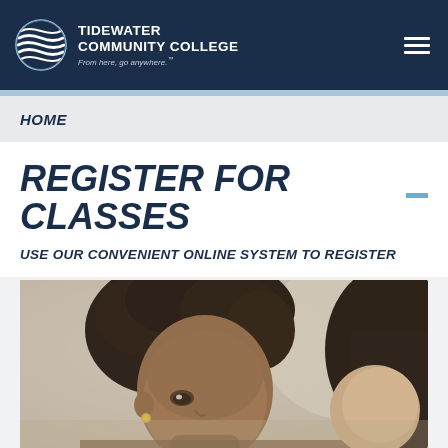[Figure (logo): Tidewater Community College logo with globe/wave icon, white text on dark navy background, tagline 'From here, go anywhere.']
HOME
REGISTER FOR CLASSES
USE OUR CONVENIENT ONLINE SYSTEM TO REGISTER
[Figure (photo): Two female students looking down, studying together. Close-up photo with soft focus background.]